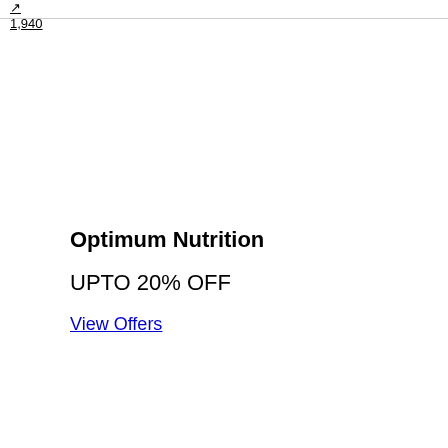1,940
Optimum Nutrition
UPTO 20% OFF
View Offers